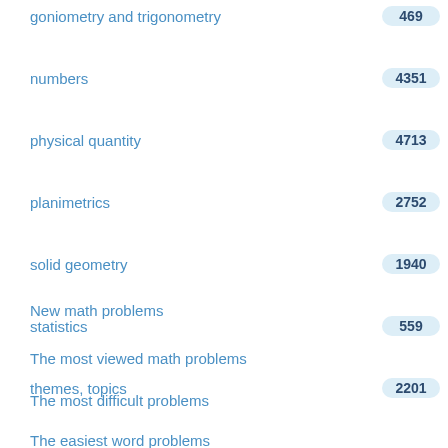goniometry and trigonometry 469
numbers 4351
physical quantity 4713
planimetrics 2752
solid geometry 1940
statistics 559
themes, topics 2201
New math problems
The most viewed math problems
The most difficult problems
The easiest word problems
Language